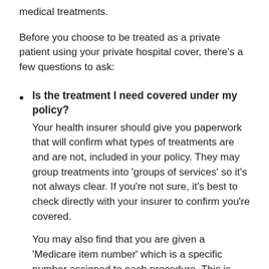medical treatments.
Before you choose to be treated as a private patient using your private hospital cover, there's a few questions to ask:
Is the treatment I need covered under my policy? Your health insurer should give you paperwork that will confirm what types of treatments are and are not, included in your policy. They may group treatments into 'groups of services' so it's not always clear. If you're not sure, it's best to check directly with your insurer to confirm you're covered.
You may also find that you are given a 'Medicare item number' which is a specific number assigned to each procedure. This is used by